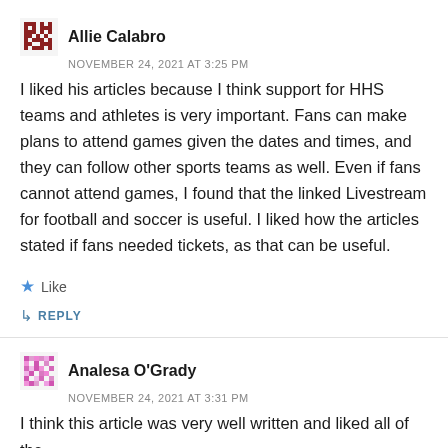Allie Calabro
NOVEMBER 24, 2021 AT 3:25 PM
I liked his articles because I think support for HHS teams and athletes is very important. Fans can make plans to attend games given the dates and times, and they can follow other sports teams as well. Even if fans cannot attend games, I found that the linked Livestream for football and soccer is useful. I liked how the articles stated if fans needed tickets, as that can be useful.
Like
REPLY
Analesa O'Grady
NOVEMBER 24, 2021 AT 3:31 PM
I think this article was very well written and liked all of the